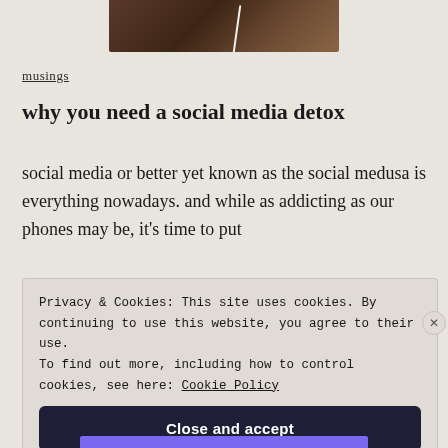[Figure (photo): Partial photo of a person with earphone/cord visible, dark brown tones, cropped at top of page]
musings
why you need a social media detox
social media or better yet known as the social medusa is everything nowadays. and while as addicting as our phones may be, it's time to put
Privacy & Cookies: This site uses cookies. By continuing to use this website, you agree to their use.
To find out more, including how to control cookies, see here: Cookie Policy

Close and accept